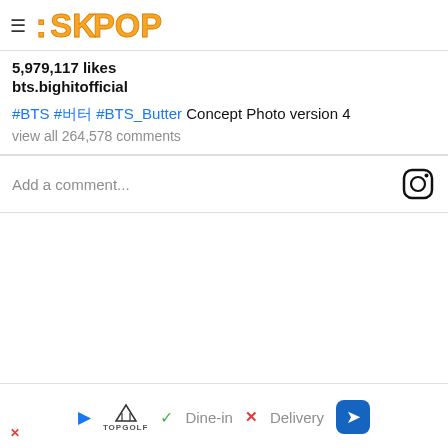SK POP
5,979,117 likes
bts.bighitofficial
#BTS #버터 #BTS_Butter Concept Photo version 4
view all 264,578 comments
Add a comment...
The rapper and vocalist is the leader of 7-member K-pop band BTS. Like Suga, RM (or Kim Nam-joon) was a
[Figure (screenshot): Advertisement bar with Topgolf logo, Dine-in checkmark, X Delivery, and blue navigation arrow]